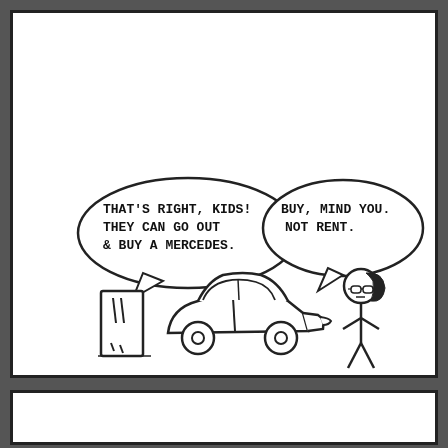[Figure (illustration): A webcomic panel showing a stick figure with black hair and glasses on the right side, with a speech bubble saying 'BUY, MIND YOU. NOT RENT.' On the left, a tall rectangular object (possibly a TV or box) with a speech bubble saying 'THAT'S RIGHT, KIDS! THEY CAN GO OUT & BUY A MERCEDES.' In the middle is a simple drawing of a car (Mercedes). Bottom strip is a second panel, partially visible.]